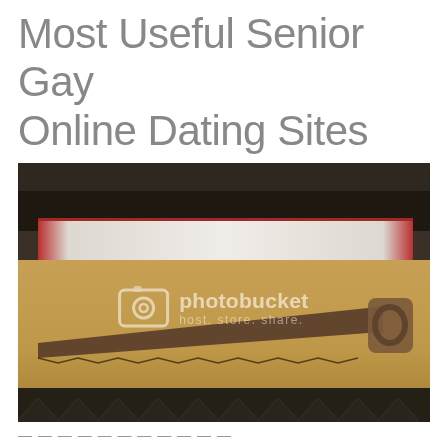Most Useful Senior Gay Online Dating Sites
[Figure (photo): A vintage hand saw lying on a wooden table surface, with a decorative table runner in the background holding various metallic objects and candles. A Photobucket watermark is overlaid on the image. The lower portion shows a dark patterned floor.]